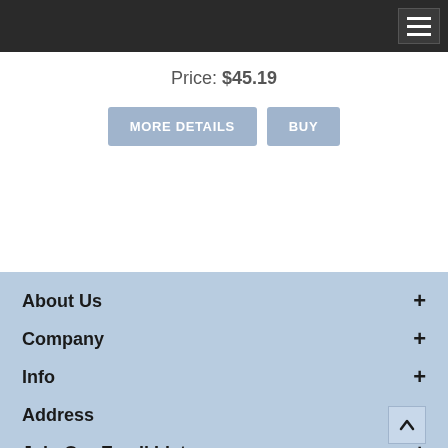Navigation bar with hamburger menu
Price: $45.19
MORE DETAILS | BUY
About Us +
Company +
Info +
Address +
Join Our Email List +